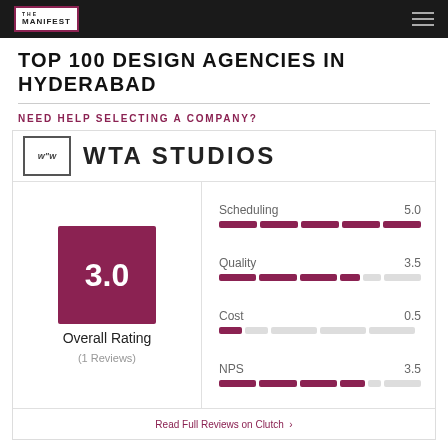THE MANIFEST
TOP 100 DESIGN AGENCIES IN HYDERABAD
NEED HELP SELECTING A COMPANY?
WTA STUDIOS
[Figure (infographic): Rating panel for WTA Studios showing overall rating of 3.0 (1 Reviews) with bar metrics: Scheduling 5.0, Quality 3.5, Cost 0.5, NPS 3.5]
Read Full Reviews on Clutch >